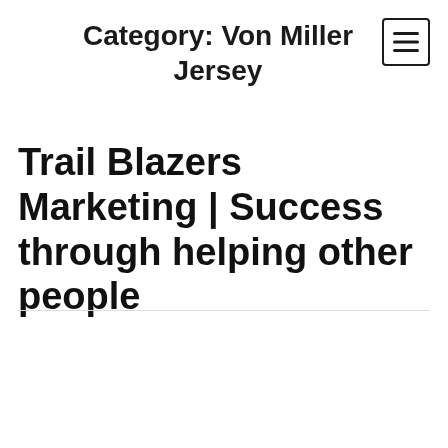Category: Von Miller Jersey
Trail Blazers Marketing | Success through helping other people